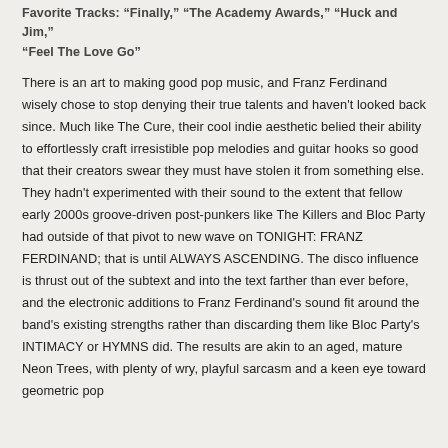Favorite Tracks: "Finally," "The Academy Awards," "Huck and Jim," "Feel The Love Go"
There is an art to making good pop music, and Franz Ferdinand wisely chose to stop denying their true talents and haven't looked back since. Much like The Cure, their cool indie aesthetic belied their ability to effortlessly craft irresistible pop melodies and guitar hooks so good that their creators swear they must have stolen it from something else. They hadn't experimented with their sound to the extent that fellow early 2000s groove-driven post-punkers like The Killers and Bloc Party had outside of that pivot to new wave on TONIGHT: FRANZ FERDINAND; that is until ALWAYS ASCENDING. The disco influence is thrust out of the subtext and into the text farther than ever before, and the electronic additions to Franz Ferdinand's sound fit around the band's existing strengths rather than discarding them like Bloc Party's INTIMACY or HYMNS did. The results are akin to an aged, mature Neon Trees, with plenty of wry, playful sarcasm and a keen eye toward geometric pop